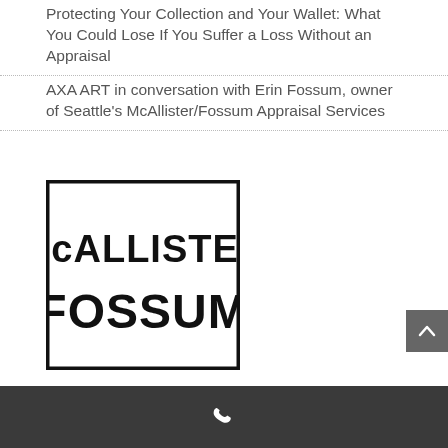Protecting Your Collection and Your Wallet: What You Could Lose If You Suffer a Loss Without an Appraisal
AXA ART in conversation with Erin Fossum, owner of Seattle’s McAllister/Fossum Appraisal Services
[Figure (logo): McAllister Fossum logo — black bordered rectangle containing the text McALLISTER FOSSUM in bold condensed sans-serif font]
phone icon